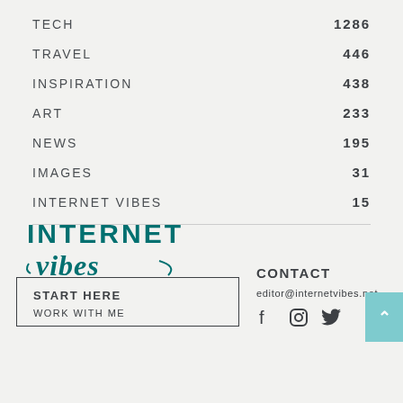TECH 1286
TRAVEL 446
INSPIRATION 438
ART 233
NEWS 195
IMAGES 31
INTERNET VIBES 15
[Figure (logo): Internet Vibes logo with INTERNET in bold teal uppercase and vibes in teal cursive script]
START HERE
WORK WITH ME
CONTACT
editor@internetvibes.net